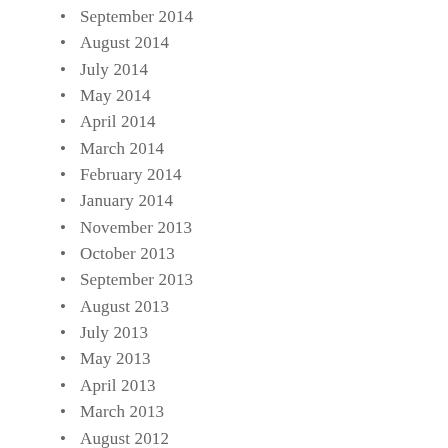September 2014
August 2014
July 2014
May 2014
April 2014
March 2014
February 2014
January 2014
November 2013
October 2013
September 2013
August 2013
July 2013
May 2013
April 2013
March 2013
August 2012